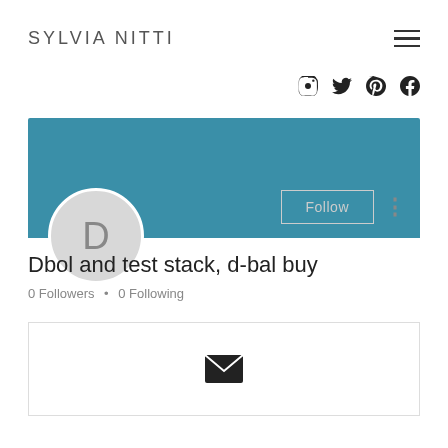SYLVIA NITTI
[Figure (screenshot): Profile page screenshot showing blue banner, avatar circle with letter D, Follow button, profile name 'Dbol and test stack, d-bal buy', follower count '0 Followers • 0 Following', and an envelope icon card at the bottom]
Dbol and test stack, d-bal buy
0 Followers • 0 Following